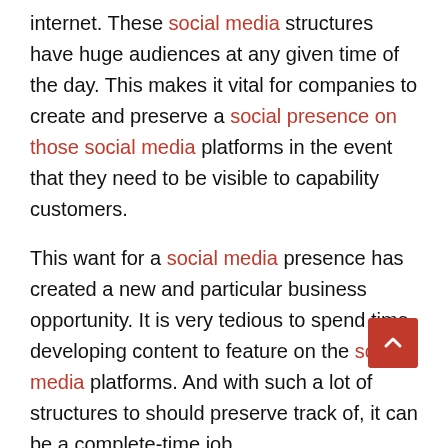internet. These social media structures have huge audiences at any given time of the day. This makes it vital for companies to create and preserve a social presence on those social media platforms in the event that they need to be visible to capability customers.
This want for a social media presence has created a new and particular business opportunity. It is very tedious to spend time developing content to feature on the social media platforms. And with such a lot of structures to should preserve track of, it can be a complete-time job.
Many corporations are in need of a social media manager, and you can help. This is one of the online commercial enterprise ideas a good way to now not grow to be saturated. New groups are rising every day and need to preserve a social media presence. So you'll by no means